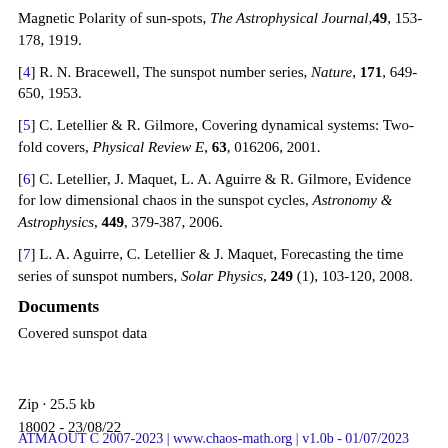Magnetic Polarity of sun-spots, The Astrophysical Journal, 49, 153-178, 1919.
[4] R. N. Bracewell, The sunspot number series, Nature, 171, 649-650, 1953.
[5] C. Letellier & R. Gilmore, Covering dynamical systems: Two-fold covers, Physical Review E, 63, 016206, 2001.
[6] C. Letellier, J. Maquet, L. A. Aguirre & R. Gilmore, Evidence for low dimensional chaos in the sunspot cycles, Astronomy & Astrophysics, 449, 379-387, 2006.
[7] L. A. Aguirre, C. Letellier & J. Maquet, Forecasting the time series of sunspot numbers, Solar Physics, 249 (1), 103-120, 2008.
Documents
Covered sunspot data
Zip · 25.5 kb
18002 - 23/08/22
ATMAOUT C 2007-2023 | www.chaos-math.org | v1.0b - 01/07/2023